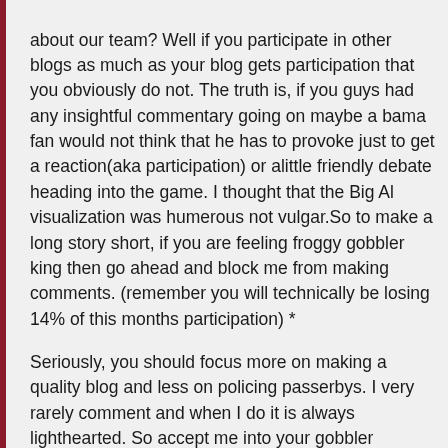about our team? Well if you participate in other blogs as much as your blog gets participation that you obviously do not. The truth is, if you guys had any insightful commentary going on maybe a bama fan would not think that he has to provoke just to get a reaction(aka participation) or alittle friendly debate heading into the game. I thought that the Big Al visualization was humerous not vulgar.So to make a long story short, if you are feeling froggy gobbler king then go ahead and block me from making comments. (remember you will technically be losing 14% of this months participation) *
Seriously, you should focus more on making a quality blog and less on policing passerbys. I very rarely comment and when I do it is always lighthearted. So accept me into your gobbler community with the disclaimer that I will bring life to